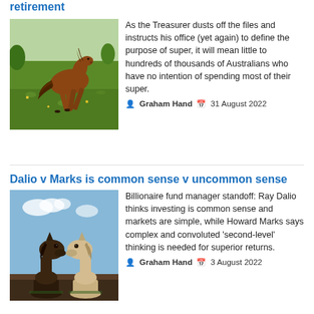retirement
[Figure (photo): A brown horse galloping in a green field]
As the Treasurer dusts off the files and instructs his office (yet again) to define the purpose of super, it will mean little to hundreds of thousands of Australians who have no intention of spending most of their super.
Graham Hand  31 August 2022
Dalio v Marks is common sense v uncommon sense
[Figure (photo): Two chess knight pieces facing each other, one dark and one light, on a chess board]
Billionaire fund manager standoff: Ray Dalio thinks investing is common sense and markets are simple, while Howard Marks says complex and convoluted 'second-level' thinking is needed for superior returns.
Graham Hand  3 August 2022